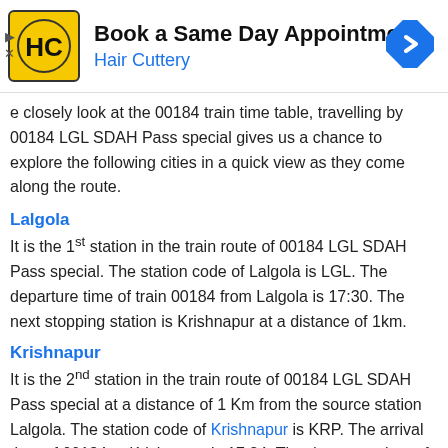[Figure (screenshot): Hair Cuttery advertisement banner: logo (HC in yellow circle), headline 'Book a Same Day Appointment', subtext 'Hair Cuttery', navigation arrow icon on right, ad controls (play/close) on left.]
e closely look at the 00184 train time table, travelling by 00184 LGL SDAH Pass special gives us a chance to explore the following cities in a quick view as they come along the route.
Lalgola
It is the 1st station in the train route of 00184 LGL SDAH Pass special. The station code of Lalgola is LGL. The departure time of train 00184 from Lalgola is 17:30. The next stopping station is Krishnapur at a distance of 1km.
Krishnapur
It is the 2nd station in the train route of 00184 LGL SDAH Pass special at a distance of 1 Km from the source station Lalgola. The station code of Krishnapur is KRP. The arrival time of 00184 at Krishnapur is 17:34. The departure time of train 00184 from Krishnapur is 17:35. The total halt time of train 00184 at Krishnapur is 1 minute. The next